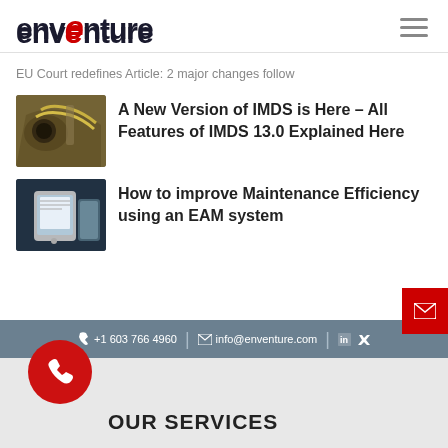[Figure (logo): enVenture logo with red stylized N]
EU Court redefines Article: 2 major changes follow
[Figure (photo): Industrial machinery with yellow cables]
A New Version of IMDS is Here – All Features of IMDS 13.0 Explained Here
[Figure (photo): Person using a tablet in industrial setting]
How to improve Maintenance Efficiency using an EAM system
+1 603 766 4960 | info@enventure.com
OUR SERVICES